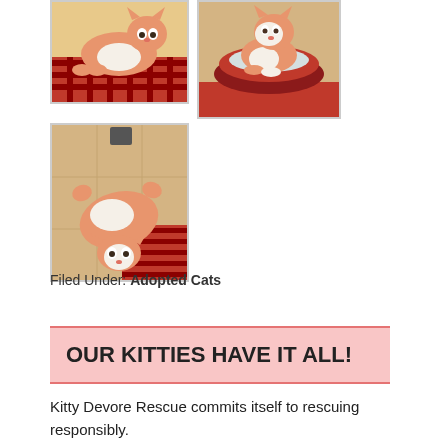[Figure (photo): Three thumbnail photos of orange and white cats: top-left cat lying on a red/white striped blanket, top-right cat sitting in a red round pet bed, bottom-left cat rolling on its back on a tile floor with a red/white blanket.]
Filed Under: Adopted Cats
OUR KITTIES HAVE IT ALL!
Kitty Devore Rescue commits itself to rescuing responsibly.